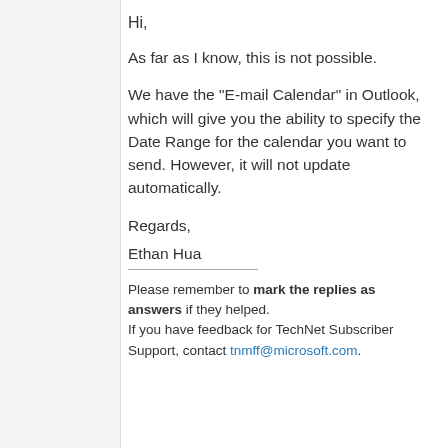Hi,
As far as I know, this is not possible.
We have the "E-mail Calendar" in Outlook, which will give you the ability to specify the Date Range for the calendar you want to send. However, it will not update automatically.
Regards,
Ethan Hua
Please remember to mark the replies as answers if they helped. If you have feedback for TechNet Subscriber Support, contact tnmff@microsoft.com.